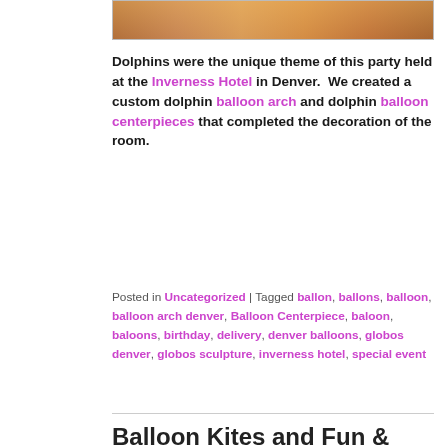[Figure (photo): Partial photo of people at a party, cropped at top of page]
Dolphins were the unique theme of this party held at the Inverness Hotel in Denver.  We created a custom dolphin balloon arch and dolphin balloon centerpieces that completed the decoration of the room.
Posted in Uncategorized | Tagged ballon, ballons, balloon, balloon arch denver, Balloon Centerpiece, baloon, baloons, birthday, delivery, denver balloons, globos denver, globos sculpture, inverness hotel, special event
Balloon Kites and Fun & Funky Columns
Posted on July 27, 2009 by monkey
[Figure (photo): Partial photo visible at bottom of page showing balloons]